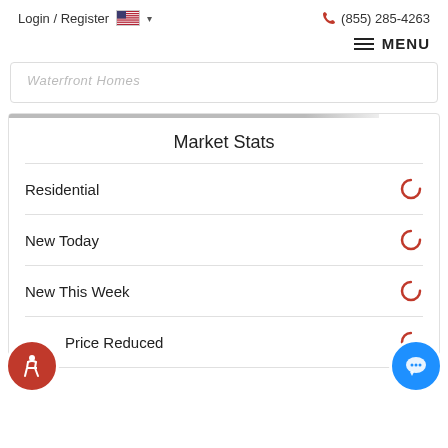Login / Register  (855) 285-4263
MENU
Waterfront Homes
Market Stats
Residential
New Today
New This Week
Price Reduced